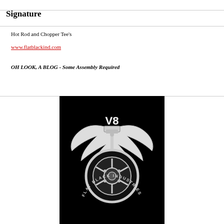Signature
Hot Rod and Chopper Tee's
www.flatblackind.com
OH LOOK, A BLOG - Some Assembly Required
[Figure (logo): Flat Black Industries logo: winged V8 engine with wheel, white on black background, text 'FLAT BLACK INDUSTRIES' around the wheel]